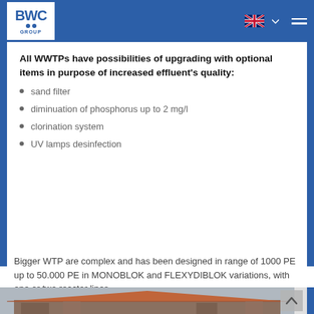BWC GROUP
All WWTPs have possibilities of upgrading with optional items in purpose of increased effluent's quality:
sand filter
diminuation of phosphorus up to 2 mg/l
clorination system
UV lamps desinfection
Bigger WTP are complex and has been designed in range of 1000 PE up to 50.000 PE in MONOBLOK and FLEXYDIBLOK variations, with one or two reactor lines.
[Figure (photo): Building structure with orange/terracotta roof, appears to be a wastewater treatment plant facility in MONOBLOK or FLEXYDIBLOK configuration]